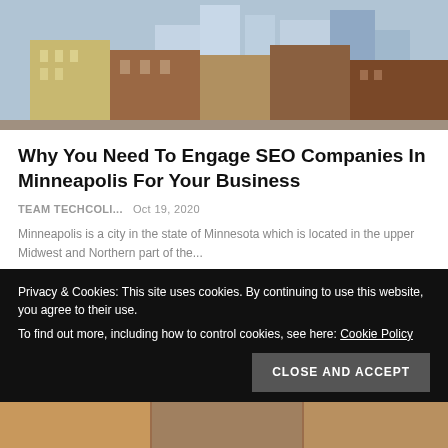[Figure (photo): Aerial/street-level photo of Minneapolis city buildings and skyline]
Why You Need To Engage SEO Companies In Minneapolis For Your Business
TEAM TECHCOLI...   Oct 19, 2020
Minneapolis is a city in the state of Minnesota which is located in the upper Midwest and Northern part of the...
[Figure (photo): Interior photo of an office or commercial space with SEO badge overlay]
Privacy & Cookies: This site uses cookies. By continuing to use this website, you agree to their use.
To find out more, including how to control cookies, see here: Cookie Policy
CLOSE AND ACCEPT